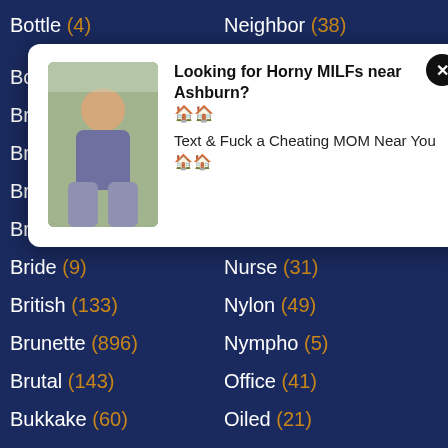Bottle (4)
Neighbor (38)
Bo...
Br...
Br...
Br...
Br... (22)
Nun (33)
[Figure (photo): Advertisement overlay with photo of a woman sitting outdoors, with text 'Looking for Horny MILFs near Ashburn? Text & Fuck a Cheating MOM Near You' and a close button]
Bride (9)
Nurse (31)
British (133)
Nylon (49)
Brunette (896)
Nympho (5)
Brutal (143)
Office (41)
Bukkake (60)
Oiled (21)
Bulgarian (7)
Old (764)
Bunny (16)
Oral (23)
Bus (258)
Orgasm (504)
Business (12)
Orgy (119)
Busty (169)
Outdoor (180)
Butt (53)
Pain (27)
Car (160)
Pakistani (3)
Cartoon (15)
Panties (53)